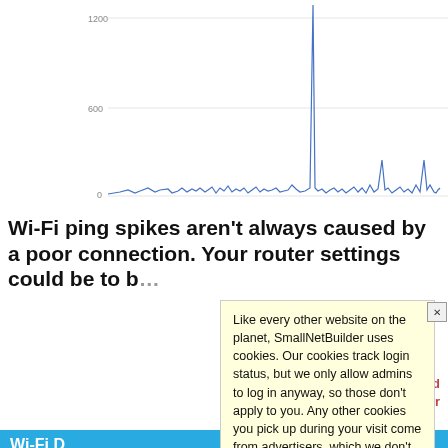[Figure (continuous-plot): Wi-Fi ping time chart showing spikes over time. Y-axis labeled 0, 600, 1200. A large spike visible near center reaching approximately 1200ms, with many smaller spikes throughout.]
Wi-Fi ping spikes aren't always caused by a poor connection. Your router settings could be to b...
Like every other website on the planet, SmallNetBuilder uses cookies. Our cookies track login status, but we only allow admins to log in anyway, so those don't apply to you. Any other cookies you pick up during your visit come from advertisers, which we don't control. If you continue to use the site, you agree to tolerate our use of cookies. Thank you!
Wi-Fi D...
[Figure (photo): Networking equipment photo on left side]
[Figure (photo): Networking cables and equipment on right side]